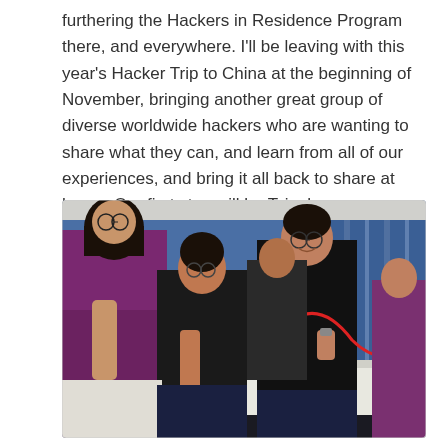furthering the Hackers in Residence Program there, and everywhere. I'll be leaving with this year's Hacker Trip to China at the beginning of November, bringing another great group of diverse worldwide hackers who are wanting to share what they can, and learn from all of our experiences, and bring it all back to share at home. Our first stop will be Tsinghua University.
[Figure (photo): Group of students and participants gathered around a table at Tsinghua University, working with electronic components and wires. A person in a maroon jacket stands on the left, others in dark jackets are working with red wires and small devices on a white-cloth-covered table. Blue curtains are visible in the background.]